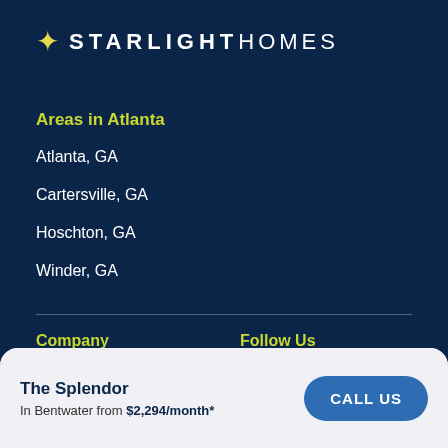[Figure (logo): Starlight Homes logo with yellow star icon and white uppercase text on dark navy background]
Areas in Atlanta
Atlanta, GA
Cartersville, GA
Hoschton, GA
Winder, GA
Company
Warranty
Follow Us
[Figure (illustration): Facebook and Instagram social media icons in white on dark navy background]
The Splendor
In Bentwater from $2,294/month*
CALL US